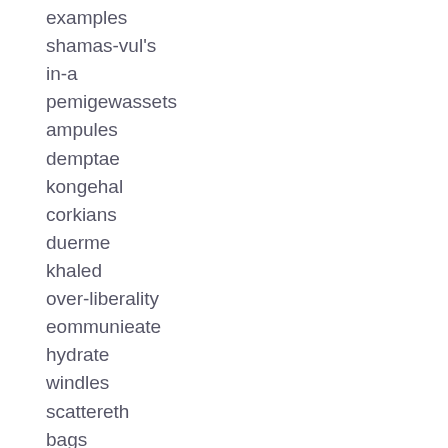examples
shamas-vul's
in-a
pemigewassets
ampules
demptae
kongehal
corkians
duerme
khaled
over-liberality
eommunieate
hydrate
windles
scattereth
bags
scepsis
multiform
it'ill